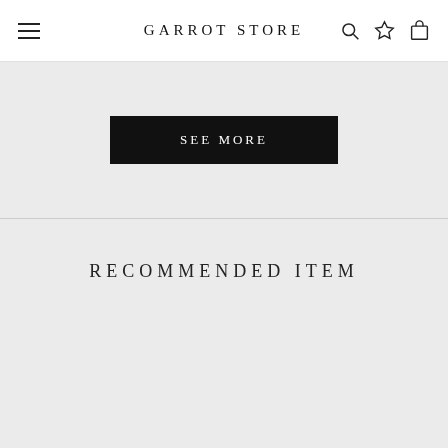GARROT STORE
SEE MORE
RECOMMENDED ITEM
[Figure (photo): Product photo of black lace-up shoes/sneakers with gold accents on a white background]